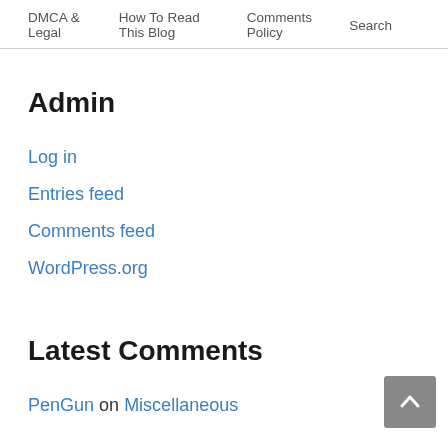DMCA & Legal | How To Read This Blog | Comments Policy | Search
Admin
Log in
Entries feed
Comments feed
WordPress.org
Latest Comments
PenGun on Miscellaneous